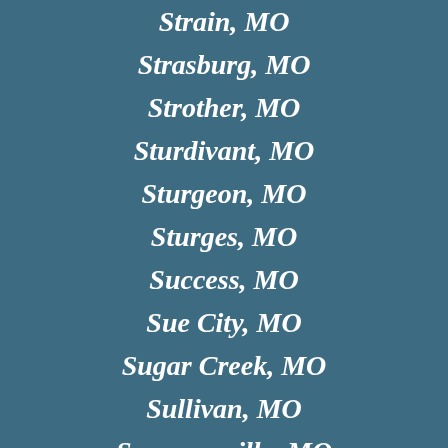Strain, MO
Strasburg, MO
Strother, MO
Sturdivant, MO
Sturgeon, MO
Sturges, MO
Success, MO
Sue City, MO
Sugar Creek, MO
Sullivan, MO
Summersville, MO
Sumner, MO